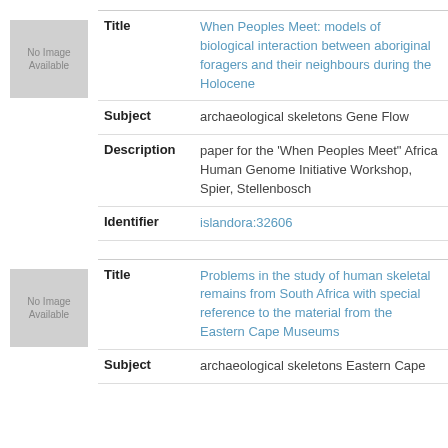[Figure (other): No Image Available placeholder thumbnail]
| Field | Value |
| --- | --- |
| Title | When Peoples Meet: models of biological interaction between aboriginal foragers and their neighbours during the Holocene |
| Subject | archaeological skeletons Gene Flow |
| Description | paper for the 'When Peoples Meet" Africa Human Genome Initiative Workshop, Spier, Stellenbosch |
| Identifier | islandora:32606 |
[Figure (other): No Image Available placeholder thumbnail]
| Field | Value |
| --- | --- |
| Title | Problems in the study of human skeletal remains from South Africa with special reference to the material from the Eastern Cape Museums |
| Subject | archaeological skeletons Eastern Cape |